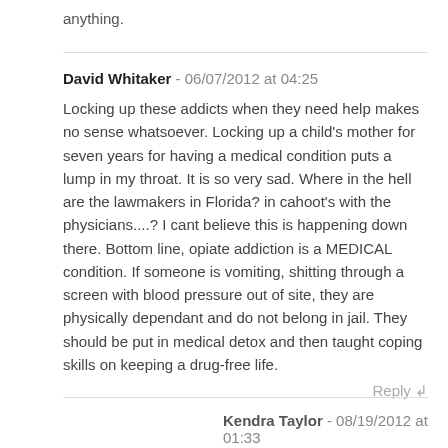anything.
David Whitaker - 06/07/2012 at 04:25

Locking up these addicts when they need help makes no sense whatsoever. Locking up a child's mother for seven years for having a medical condition puts a lump in my throat. It is so very sad. Where in the hell are the lawmakers in Florida? in cahoot's with the physicians....? I cant believe this is happening down there. Bottom line, opiate addiction is a MEDICAL condition. If someone is vomiting, shitting through a screen with blood pressure out of site, they are physically dependant and do not belong in jail. They should be put in medical detox and then taught coping skills on keeping a drug-free life.
Reply ↲
Kendra Taylor - 08/19/2012 at 01:33